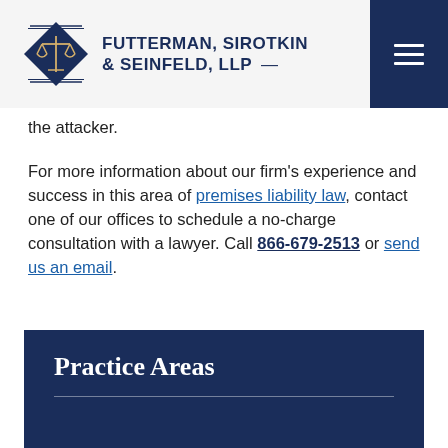FUTTERMAN, SIROTKIN & SEINFELD, LLP
the attacker.
For more information about our firm's experience and success in this area of premises liability law, contact one of our offices to schedule a no-charge consultation with a lawyer. Call 866-679-2513 or send us an email.
Practice Areas